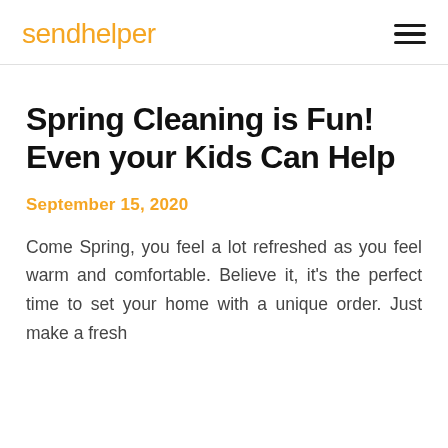sendhelper
Spring Cleaning is Fun! Even your Kids Can Help
September 15, 2020
Come Spring, you feel a lot refreshed as you feel warm and comfortable. Believe it, it's the perfect time to set your home with a unique order. Just make a fresh